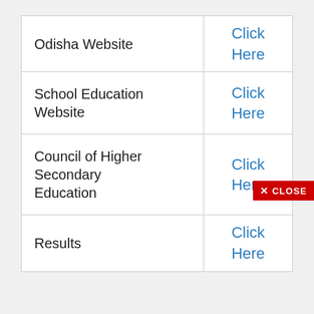|  |  |
| --- | --- |
| Odisha Website | Click Here |
| School Education Website | Click Here |
| Council of Higher Secondary Education | Click Here |
| Results | Click Here |